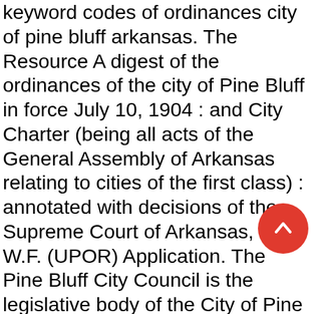keyword codes of ordinances city of pine bluff arkansas. The Resource A digest of the ordinances of the city of Pine Bluff in force July 10, 1904 : and City Charter (being all acts of the General Assembly of Arkansas relating to cities of the first class) : annotated with decisions of the Supreme Court of Arkansas, by W.F. (UPOR) Application. The Pine Bluff City Council is the legislative body of the City of Pine Bluff. CITY OF PINE BLUFF, ARKANSAS TABLE OF CONTENTS FOR THE YEAR ENDED DECEMBER 31, 2019 Independent Auditor's Report Report on Internal Control Over Financial Reporting and on Compliance and Other Matters Based on an Audit of Financial Statements Performed in Accordance with Government Auditing Standards Management Letter The frontier is the margin of undeveloped territory that would comprise the United States beyond the established frontier line. For more information or of you need assistance with registering, please call the Town Hall at (307)245-3746. Frete GRÁTIS
[Figure (other): Red circular floating action button with an upward-pointing chevron/arrow icon]